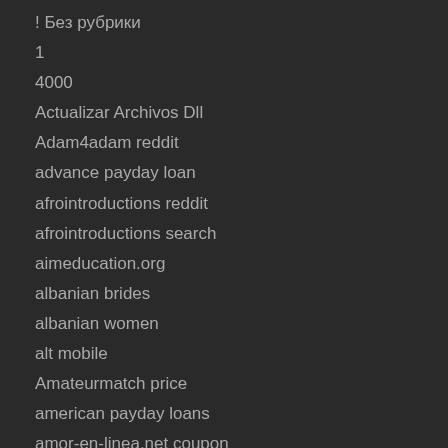! Без рубрики
1
4000
Actualizar Archivos Dll
Adam4adam reddit
advance payday loan
afrointroductions reddit
afrointroductions search
aimeducation.org
albanian brides
albanian women
alt mobile
Amateurmatch price
american payday loans
amor-en-linea.net coupon
anastasia-date search
anastasiadate